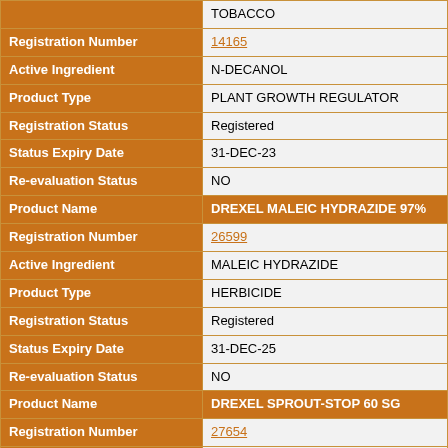| Field | Value |
| --- | --- |
|  | TOBACCO |
| Registration Number | 14165 |
| Active Ingredient | N-DECANOL |
| Product Type | PLANT GROWTH REGULATOR |
| Registration Status | Registered |
| Status Expiry Date | 31-DEC-23 |
| Re-evaluation Status | NO |
| Product Name | DREXEL MALEIC HYDRAZIDE 97% |
| Registration Number | 26599 |
| Active Ingredient | MALEIC HYDRAZIDE |
| Product Type | HERBICIDE |
| Registration Status | Registered |
| Status Expiry Date | 31-DEC-25 |
| Re-evaluation Status | NO |
| Product Name | DREXEL SPROUT-STOP 60 SG |
| Registration Number | 27654 |
| Active Ingredient | MALEIC HYDRAZIDE |
| Product Type | PLANT GROWTH REGULATOR |
| Registration Status | Registered |
| Status Expiry Date | 31-DEC-24 |
| Re-evaluation Status | NO |
| Product Name | DRIED EGGS |